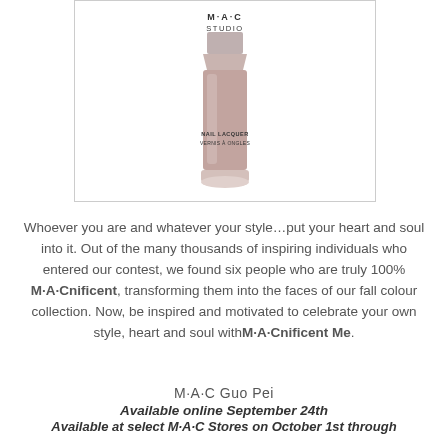[Figure (photo): MAC Studio Nail Lacquer / Vernis À Ongles bottle in a dusty mauve/pink colour, shown in a framed white box with a thin border.]
Whoever you are and whatever your style…put your heart and soul into it. Out of the many thousands of inspiring individuals who entered our contest, we found six people who are truly 100% M·A·Cnificent, transforming them into the faces of our fall colour collection. Now, be inspired and motivated to celebrate your own style, heart and soul with M·A·Cnificent Me.
M·A·C Guo Pei
Available online September 24th
Available at select M·A·C Stores on October 1st through